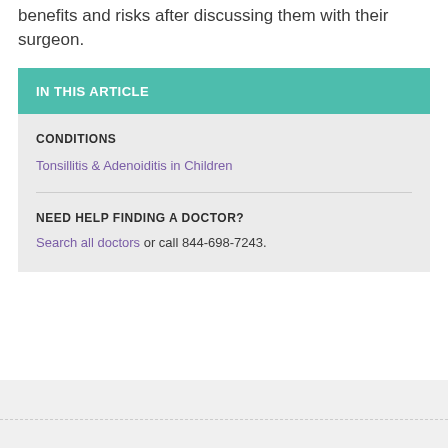benefits and risks after discussing them with their surgeon.
IN THIS ARTICLE
CONDITIONS
Tonsillitis & Adenoiditis in Children
NEED HELP FINDING A DOCTOR?
Search all doctors or call 844-698-7243.